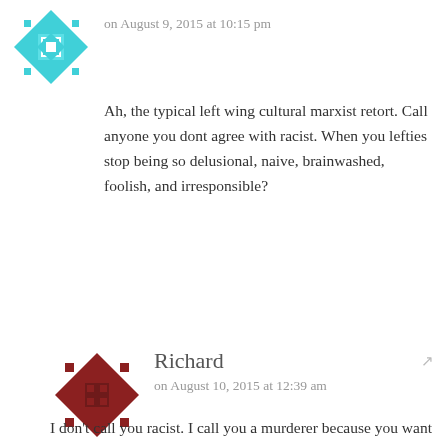[Figure (illustration): Teal geometric avatar icon (decorative, anonymous user avatar)]
on August 9, 2015 at 10:15 pm
Ah, the typical left wing cultural marxist retort. Call anyone you dont agree with racist. When you lefties stop being so delusional, naive, brainwashed, foolish, and irresponsible?
[Figure (illustration): Dark red/brown geometric avatar icon for user Richard]
Richard
on August 10, 2015 at 12:39 am
I don't call you racist. I call you a murderer because you want to gun down and kill people, women, children without even knowing them, just because their presence cause social and financial problems.
I call you an extreme rightist fascist because you publicly